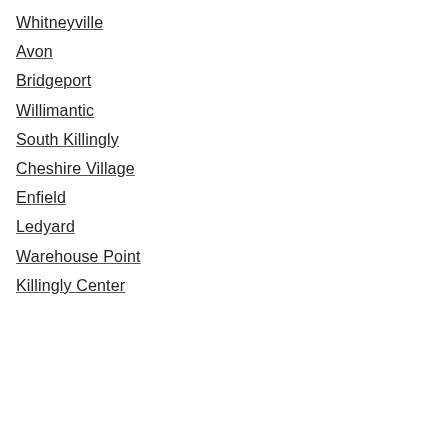Whitneyville
Avon
Bridgeport
Willimantic
South Killingly
Cheshire Village
Enfield
Ledyard
Warehouse Point
Killingly Center